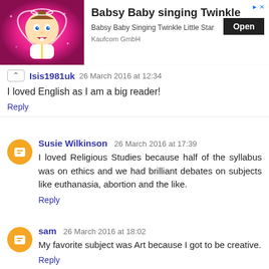[Figure (screenshot): Advertisement banner: cartoon baby with heart halo on pink background, title 'Babsy Baby singing Twinkle', subtitle 'Babsy Baby Singing Twinkle Little Star', brand 'Kaufcom GmbH', Open button]
Isis1981uk 26 March 2016 at 12:34
I loved English as I am a big reader!
Reply
Susie Wilkinson 26 March 2016 at 17:39
I loved Religious Studies because half of the syllabus was on ethics and we had brilliant debates on subjects like euthanasia, abortion and the like.
Reply
sam 26 March 2016 at 18:02
My favorite subject was Art because I got to be creative.
Reply